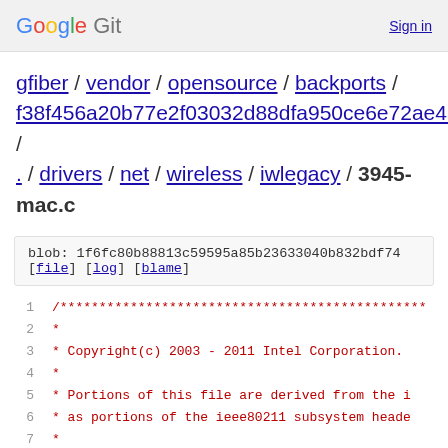Google Git  Sign in
gfiber / vendor / opensource / backports / f38f456a20b77e2f03032d88dfa950ce6e72ae4a / . / drivers / net / wireless / iwlegacy / 3945-mac.c
blob: 1f6fc80b88813c59595a85b23633040b832bdf74
[file] [log] [blame]
1  /***********************************************
2  *
3  * Copyright(c) 2003 - 2011 Intel Corporation.
4  *
5  * Portions of this file are derived from the i
6  * as portions of the ieee80211 subsystem heade
7  *
8  * This program is free software; you can redis